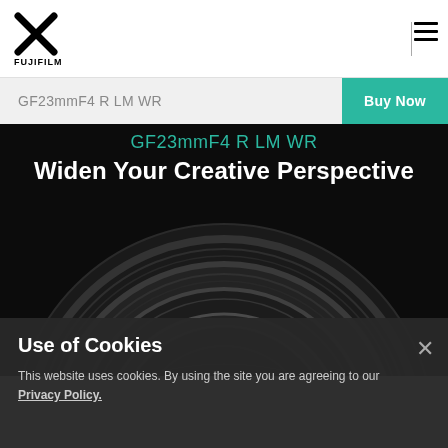[Figure (logo): Fujifilm logo with X mark and FUJIFILM text]
GF23mmF4 R LM WR | Buy Now
[Figure (photo): Close-up photo of a dark camera lens (Fujifilm GF23mmF4 R LM WR) against a black background with text overlay: GF23mmF4 R LM WR and Widen Your Creative Perspective]
GF23mmF4 R LM WR
Widen Your Creative Perspective
Use of Cookies
This website uses cookies. By using the site you are agreeing to our Privacy Policy.